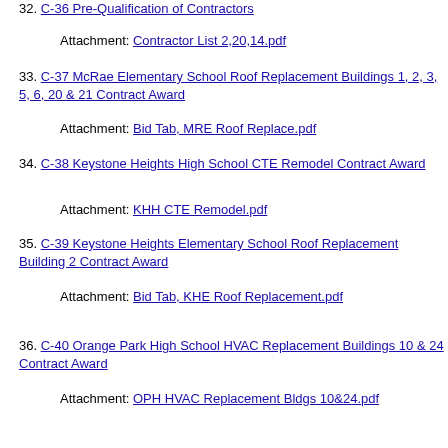32. C-36 Pre-Qualification of Contractors
Attachment: Contractor List 2,20,14.pdf
33. C-37 McRae Elementary School Roof Replacement Buildings 1, 2, 3, 5, 6, 20 & 21 Contract Award
Attachment: Bid Tab, MRE Roof Replace.pdf
34. C-38 Keystone Heights High School CTE Remodel Contract Award
Attachment: KHH CTE Remodel.pdf
35. C-39 Keystone Heights Elementary School Roof Replacement Building 2 Contract Award
Attachment: Bid Tab, KHE Roof Replacement.pdf
36. C-40 Orange Park High School HVAC Replacement Buildings 10 & 24 Contract Award
Attachment: OPH HVAC Replacement Bldgs 10&24.pdf